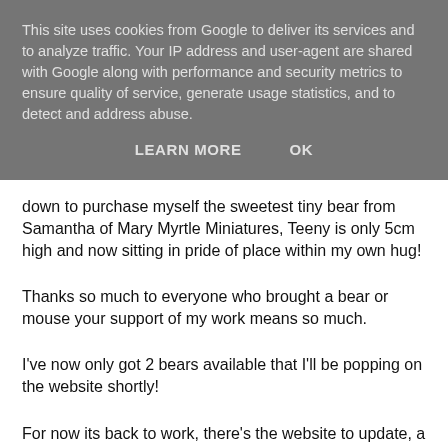This site uses cookies from Google to deliver its services and to analyze traffic. Your IP address and user-agent are shared with Google along with performance and security metrics to ensure quality of service, generate usage statistics, and to detect and address abuse.
LEARN MORE   OK
down to purchase myself the sweetest tiny bear from Samantha of Mary Myrtle Miniatures, Teeny is only 5cm high and now sitting in pride of place within my own hug!
Thanks so much to everyone who brought a bear or mouse your support of my work means so much.
I've now only got 2 bears available that I'll be popping on the website shortly!
For now its back to work, there's the website to update, a big Hamley's order, commissions to finish and its the Inn on the Lake show in a few weeks, gosh and I thought I'd be able to have a rest!!!!!!